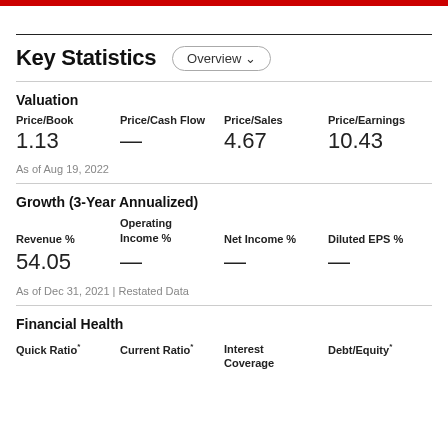Key Statistics
Valuation
| Price/Book | Price/Cash Flow | Price/Sales | Price/Earnings |
| --- | --- | --- | --- |
| 1.13 | — | 4.67 | 10.43 |
As of Aug 19, 2022
Growth (3-Year Annualized)
| Revenue % | Operating Income % | Net Income % | Diluted EPS % |
| --- | --- | --- | --- |
| 54.05 | — | — | — |
As of Dec 31, 2021 | Restated Data
Financial Health
| Quick Ratio* | Current Ratio* | Interest Coverage | Debt/Equity* |
| --- | --- | --- | --- |